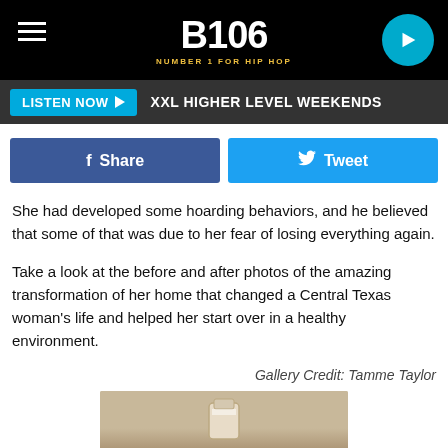[Figure (screenshot): B106 radio station website header with logo 'B106 NUMBER 1 FOR HIP HOP' on dark starry background, hamburger menu icon on left, circular play button on right]
LISTEN NOW ▶  XXL HIGHER LEVEL WEEKENDS
[Figure (screenshot): Facebook Share button (blue) and Twitter Tweet button (cyan) side by side]
She had developed some hoarding behaviors, and he believed that some of that was due to her fear of losing everything again.
Take a look at the before and after photos of the amazing transformation of her home that changed a Central Texas woman's life and helped her start over in a healthy environment.
Gallery Credit: Tamme Taylor
[Figure (photo): Partial photo of an object on a brown/tan surface, bottom of page]